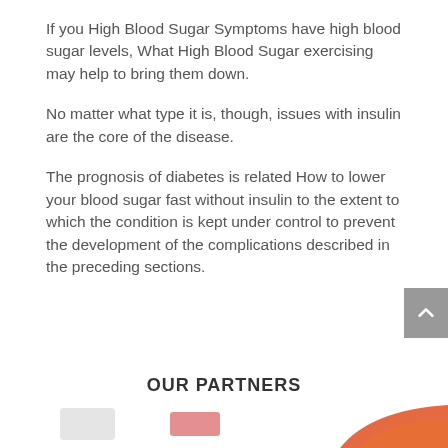If you High Blood Sugar Symptoms have high blood sugar levels, What High Blood Sugar exercising may help to bring them down.
No matter what type it is, though, issues with insulin are the core of the disease.
The prognosis of diabetes is related How to lower your blood sugar fast without insulin to the extent to which the condition is kept under control to prevent the development of the complications described in the preceding sections.
OUR PARTNERS
[Figure (other): Partner logos partially visible at the bottom of the page]